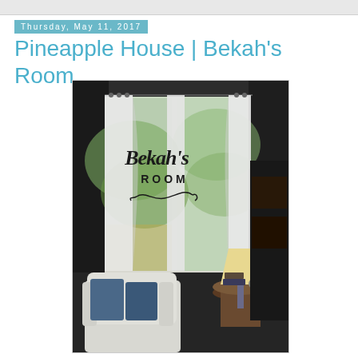Thursday, May 11, 2017
Pineapple House | Bekah's Room
[Figure (photo): Interior room photo showing white curtains on a window with a decorative vinyl wall lettering reading "Bekah's Room" with an ornamental flourish beneath it. In the foreground there is a white armchair with blue pillows, and a round side table with a lamp and books/decor on the right side.]